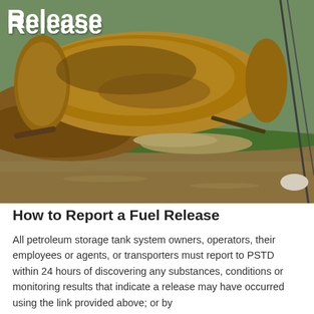Release
[Figure (photo): Photo of a large corroded underground storage tank that has been unearthed, lying on its side near a body of water with muddy, flooded ground and grass.]
How to Report a Fuel Release
All petroleum storage tank system owners, operators, their employees or agents, or transporters must report to PSTD within 24 hours of discovering any substances, conditions or monitoring results that indicate a release may have occurred using the link provided above; or by